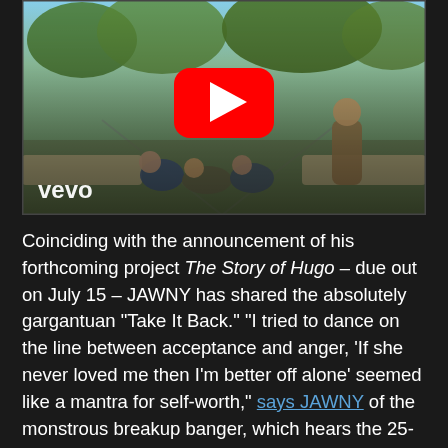[Figure (screenshot): YouTube/Vevo embedded video thumbnail showing group of young people in an outdoor scene with a red YouTube play button overlay and 'vevo' logo in the lower left corner.]
Coinciding with the announcement of his forthcoming project The Story of Hugo – due out on July 15 – JAWNY has shared the absolutely gargantuan "Take It Back." "I tried to dance on the line between acceptance and anger, 'If she never loved me then I'm better off alone' seemed like a mantra for self-worth," says JAWNY of the monstrous breakup banger, which hears the 25-year-old moving from Beck-like, ramshackle verses to a total blowout of a chorus replete with sing-